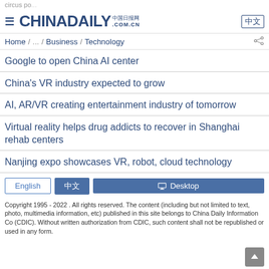circus po...
[Figure (logo): China Daily 中国日报网 .COM.CN logo with hamburger menu icon and 中文 button]
Home / ... Business / Technology
Google to open China AI center
China's VR industry expected to grow
AI, AR/VR creating entertainment industry of tomorrow
Virtual reality helps drug addicts to recover in Shanghai rehab centers
Nanjing expo showcases VR, robot, cloud technology
English   中文   Desktop
Copyright 1995 - 2022 . All rights reserved. The content (including but not limited to text, photo, multimedia information, etc) published in this site belongs to China Daily Information Co (CDIC). Without written authorization from CDIC, such content shall not be republished or used in any form.